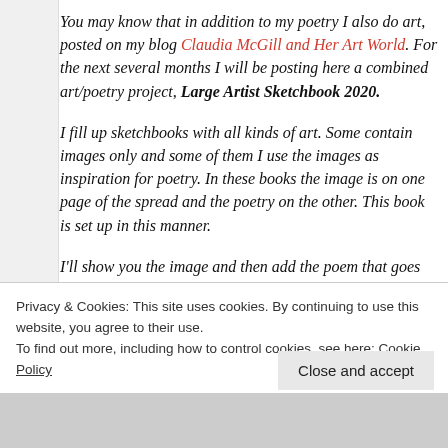You may know that in addition to my poetry I also do art, posted on my blog Claudia McGill and Her Art World. For the next several months I will be posting here a combined art/poetry project, Large Artist Sketchbook 2020.
I fill up sketchbooks with all kinds of art. Some contain images only and some of them I use the images as inspiration for poetry. In these books the image is on one page of the spread and the poetry on the other. This book is set up in this manner.
I'll show you the image and then add the poem that goes with it. See what you think.
Privacy & Cookies: This site uses cookies. By continuing to use this website, you agree to their use.
To find out more, including how to control cookies, see here: Cookie Policy